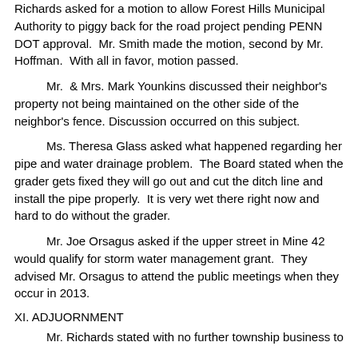Richards asked for a motion to allow Forest Hills Municipal Authority to piggy back for the road project pending PENN DOT approval. Mr. Smith made the motion, second by Mr. Hoffman. With all in favor, motion passed.
Mr. & Mrs. Mark Younkins discussed their neighbor's property not being maintained on the other side of the neighbor's fence. Discussion occurred on this subject.
Ms. Theresa Glass asked what happened regarding her pipe and water drainage problem. The Board stated when the grader gets fixed they will go out and cut the ditch line and install the pipe properly. It is very wet there right now and hard to do without the grader.
Mr. Joe Orsagus asked if the upper street in Mine 42 would qualify for storm water management grant. They advised Mr. Orsagus to attend the public meetings when they occur in 2013.
XI. ADJUORNMENT
Mr. Richards stated with no further township business to